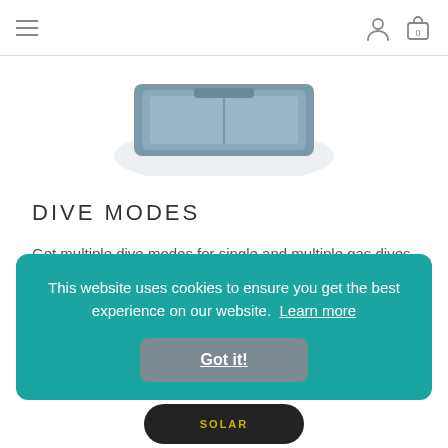Navigation bar with hamburger menu and user/cart icons
[Figure (photo): Partial view of a dive computer product (grey/blue device) shown from above]
DIVE MODES
Get multiple dive modes for single and multiple gas dives (including nitrox and trimix), gauge, apnea, apnea hunt and close circuit rebreather
This website uses cookies to ensure you get the best experience on our website. Learn more
Got it!
[Figure (photo): Bottom of a dive watch/computer showing SOLAR text in yellow]